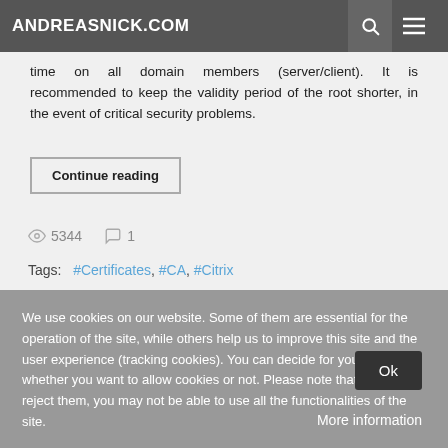ANDREASNICK.COM
time on all domain members (server/client). It is recommended to keep the validity period of the root shorter, in the event of critical security problems.
Continue reading
5344
1
Tags:  #Certificates, #CA, #Citrix
We use cookies on our website. Some of them are essential for the operation of the site, while others help us to improve this site and the user experience (tracking cookies). You can decide for yourself whether you want to allow cookies or not. Please note that if you reject them, you may not be able to use all the functionalities of the site.
Ok
More information